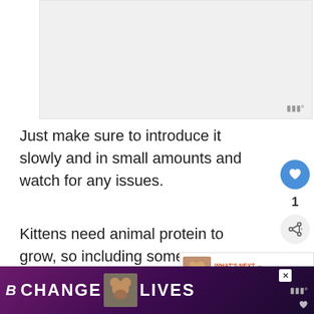[Figure (photo): Placeholder image area with light gray background and watermark symbol in bottom right]
Just make sure to introduce it slowly and in small amounts and watch for any issues.
Kittens need animal protein to grow, so including some raw ground beef in their diet is a good idea.
[Figure (infographic): What's Next panel showing a dog/puppy thumbnail with text 'WHAT'S NEXT → Why Are Front Clip...']
[Figure (infographic): Bottom advertisement banner with purple background showing 'CHANGE LIVES' text with cat icons and watermark]